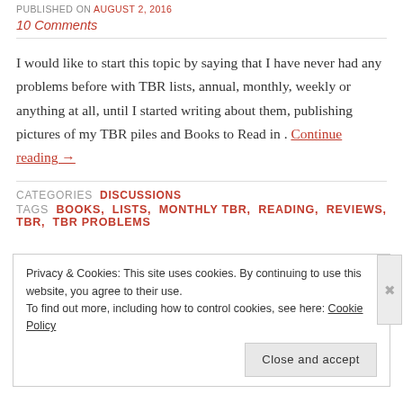PUBLISHED ON August 2, 2016
10 Comments
I would like to start this topic by saying that I have never had any problems before with TBR lists, annual, monthly, weekly or anything at all, until I started writing about them, publishing pictures of my TBR piles and Books to Read in . Continue reading →
CATEGORIES DISCUSSIONS
TAGS BOOKS, LISTS, MONTHLY TBR, READING, REVIEWS, TBR, TBR PROBLEMS
Privacy & Cookies: This site uses cookies. By continuing to use this website, you agree to their use. To find out more, including how to control cookies, see here: Cookie Policy
Close and accept